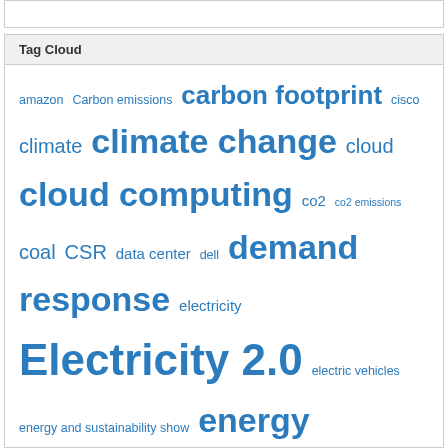Tag Cloud
[Figure (infographic): A tag cloud showing various technology and sustainability related tags in different sizes reflecting their frequency/weight. Tags include: amazon, Carbon emissions, carbon footprint, cisco, climate, climate change, cloud, cloud computing, co2, co2 emissions, coal, CSR, data center, dell, demand response, electricity, Electricity 2.0, electric vehicles, energy and sustainability show, energy efficiency, facebook, Google, greenmonk, hp, IBM, internet of things, iot, Microsoft, mobile, open source, oracle, renewable energy, renewables, SAP, smarter cities, smart grid, smart meter, smart meters]